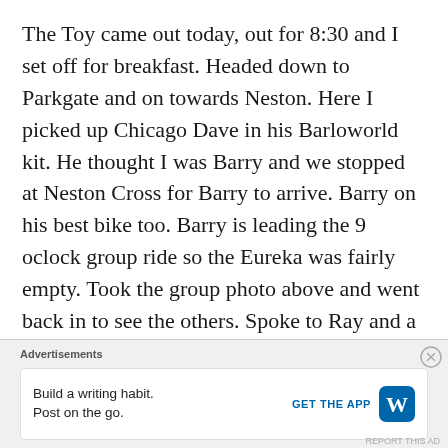The Toy came out today, out for 8:30 and I set off for breakfast. Headed down to Parkgate and on towards Neston. Here I picked up Chicago Dave in his Barloworld kit. He thought I was Barry and we stopped at Neston Cross for Barry to arrive. Barry on his best bike too. Barry is leading the 9 oclock group ride so the Eureka was fairly empty. Took the group photo above and went back in to see the others. Spoke to Ray and a few others I haven't seen for a while.

Come leaving time there as no space left for
Advertisements
Build a writing habit. Post on the go.
GET THE APP